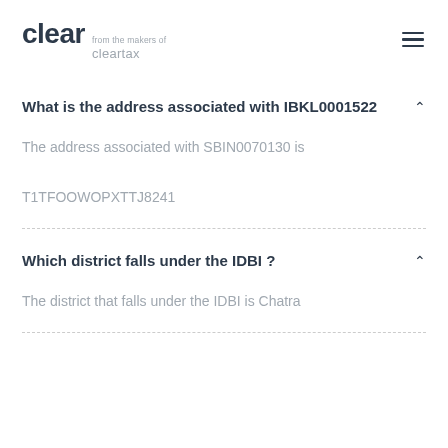clear from the makers of cleartax
What is the address associated with IBKL0001522
The address associated with SBIN0070130 is

T1TFOOWOPXTTJ8241
Which district falls under the IDBI ?
The district that falls under the IDBI is Chatra